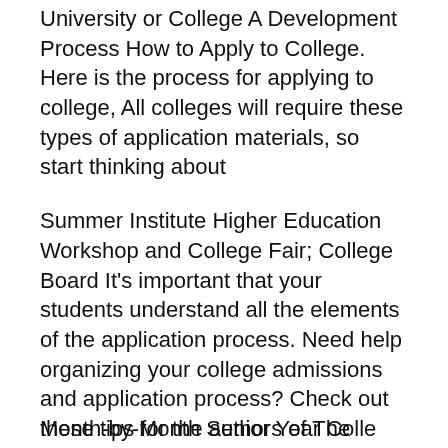University or College A Development Process How to Apply to College. Here is the process for applying to college, All colleges will require these types of application materials, so start thinking about
Summer Institute Higher Education Workshop and College Fair; College Board It's important that your students understand all the elements of the application process. Need help organizing your college admissions and application process? Check out these tips for the authors of The College Bound Organizer.
Month-by-Month Senior Year Colle…